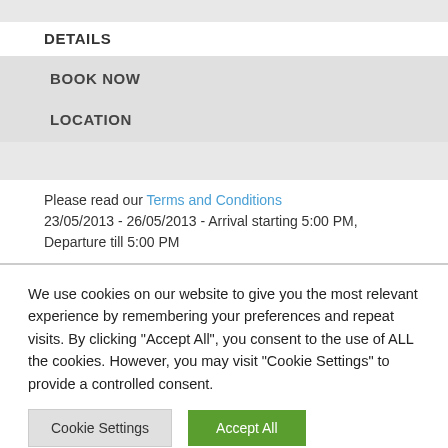DETAILS
BOOK NOW
LOCATION
Please read our Terms and Conditions
23/05/2013 - 26/05/2013 - Arrival starting 5:00 PM, Departure till 5:00 PM
We use cookies on our website to give you the most relevant experience by remembering your preferences and repeat visits. By clicking "Accept All", you consent to the use of ALL the cookies. However, you may visit "Cookie Settings" to provide a controlled consent.